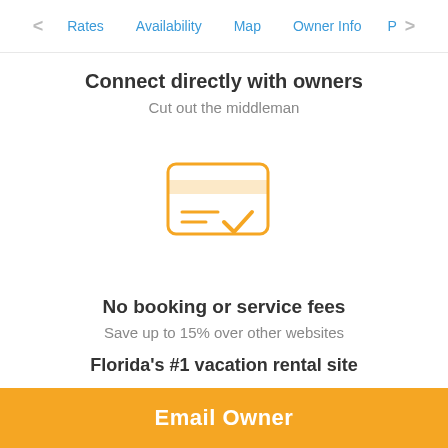< Rates  Availability  Map  Owner Info  P >
Connect directly with owners
Cut out the middleman
[Figure (illustration): Orange outline icon of a credit card with a checkmark]
No booking or service fees
Save up to 15% over other websites
Florida's #1 vacation rental site
Email Owner